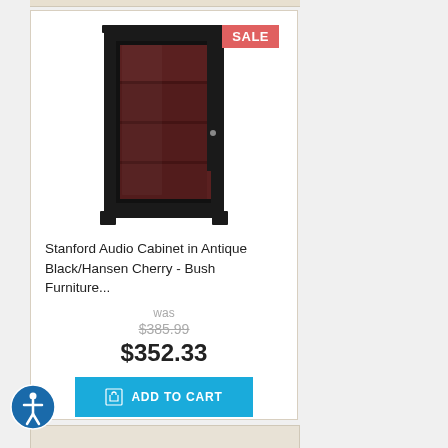[Figure (photo): Stanford Audio Cabinet in Antique Black/Hansen Cherry - a tall dark cabinet with glass door showing interior shelves, with a SALE badge in the top right corner]
Stanford Audio Cabinet in Antique Black/Hansen Cherry - Bush Furniture...
was
$385.99
$352.33
ADD TO CART